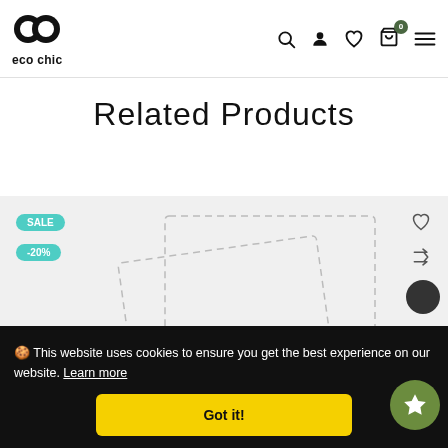eco chic — navigation header with search, account, wishlist, cart (0), and menu icons
Related Products
[Figure (screenshot): Product image area with SALE and -20% teal badges, heart icon, shuffle icon, dark circle button, and dashed-rectangle placeholder product image on light gray background]
🍪 This website uses cookies to ensure you get the best experience on our website. Learn more
Got it!